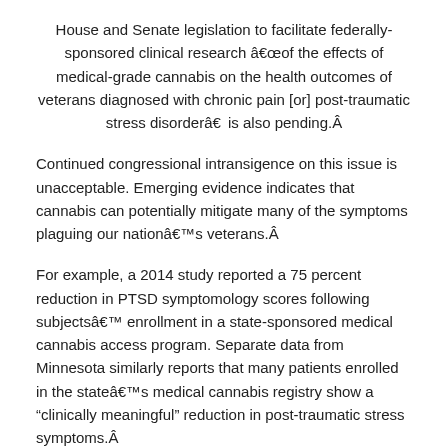House and Senate legislation to facilitate federally-sponsored clinical research â€œof the effects of medical-grade cannabis on the health outcomes of veterans diagnosed with chronic pain [or] post-traumatic stress disorderâ€ is also pending.Â
Continued congressional intransigence on this issue is unacceptable. Emerging evidence indicates that cannabis can potentially mitigate many of the symptoms plaguing our nationâ€™s veterans.Â
For example, a 2014 study reported a 75 percent reduction in PTSD symptomology scores following subjectsâ€™ enrollment in a state-sponsored medical cannabis access program. Separate data from Minnesota similarly reports that many patients enrolled in the stateâ€™s medical cannabis registry show a “clinically meaningful” reduction in post-traumatic stress symptoms.Â